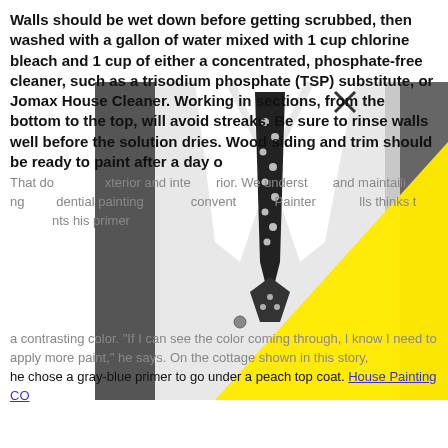Walls should be wet down before getting scrubbed, then washed with a gallon of water mixed with 1 cup chlorine bleach and 1 cup of either a concentrated, phosphate-free cleaner, such as a trisodium phosphate (TSP) substitute, or Jomax House Cleaner. Working in sections, from the bottom to the top, will avoid streaks. Be sure to rinse walls well before the solution dries. Wood siding and trim should be ready to paint after a day or
[Figure (photo): Black and white photo of a man in a white dress shirt and tie with polka dot pattern, overlaid with a bright yellow triangle graphic in the lower right portion]
That do exterior and interior. We understand maintaining dential painting convenient. Painters lls thinks that nts his primer a contrasting color. "If I can see the color coming through, I know I need to apply more paint," he says. On the cottage shown in this story, he chose a gray-blue primer to go under a peach top coat. House Painting CO